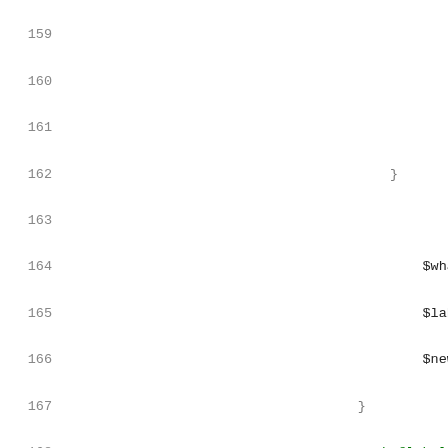Source code listing, lines 159-180, Perl code